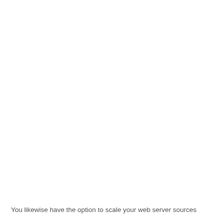You likewise have the option to scale your web server sources